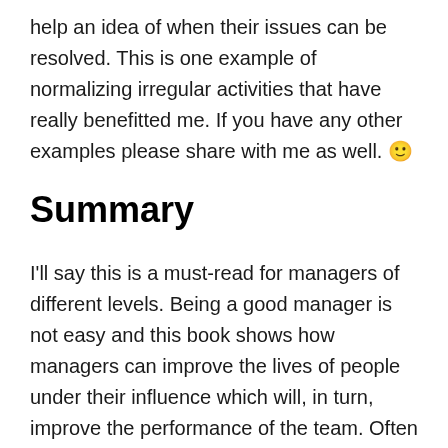help an idea of when their issues can be resolved. This is one example of normalizing irregular activities that have really benefitted me. If you have any other examples please share with me as well. 🙂
Summary
I'll say this is a must-read for managers of different levels. Being a good manager is not easy and this book shows how managers can improve the lives of people under their influence which will, in turn, improve the performance of the team. Often times managers simply do not know what they need to focus on and giving this book a read is definitely a great first step.